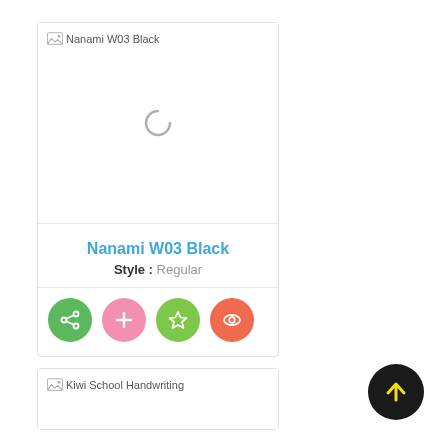[Figure (screenshot): Font card for Nanami W03 Black showing a loading spinner, font name in blue, style Regular, and four action buttons (share, add, favorite, view)]
[Figure (screenshot): Partial font card for Kiwi School Handwriting at bottom of page with broken image placeholder]
[Figure (other): Back-to-top button: black circle with yellow upward arrow]